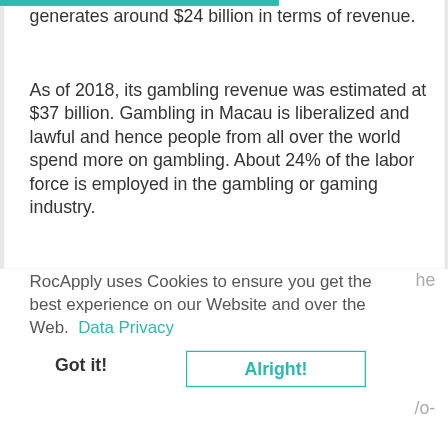generates around $24 billion in terms of revenue.
As of 2018, its gambling revenue was estimated at $37 billion. Gambling in Macau is liberalized and lawful and hence people from all over the world spend more on gambling. About 24% of the labor force is employed in the gambling or gaming industry.
RocApply uses Cookies to ensure you get the best experience on our Website and over the Web.  Data Privacy
he
Got it!
Alright!
/o-
from the sea. The Hong Kong dollar is an